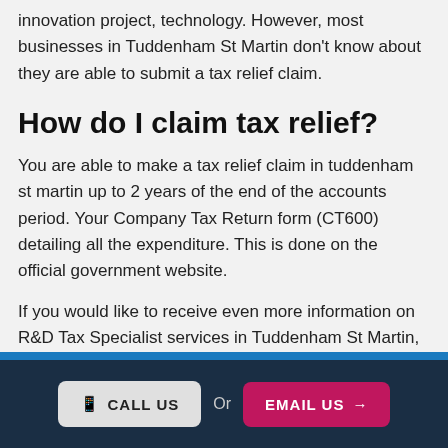innovation project, technology. However, most businesses in Tuddenham St Martin don't know about they are able to submit a tax relief claim.
How do I claim tax relief?
You are able to make a tax relief claim in tuddenham st martin up to 2 years of the end of the accounts period. Your Company Tax Return form (CT600) detailing all the expenditure. This is done on the official government website.
If you would like to receive even more information on R&D Tax Specialist services in Tuddenham St Martin, make sure you get in touch with us today!
CALL US   Or   EMAIL US →